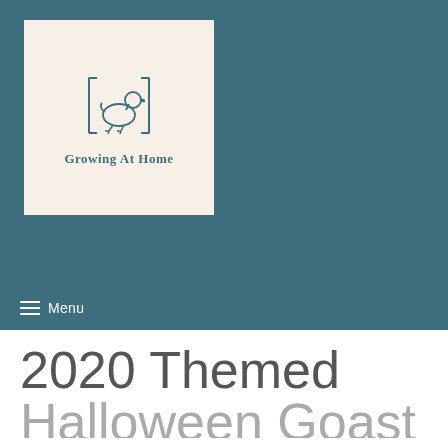[Figure (logo): Growing At Home logo: cream/beige background square with a teal duck inside square brackets and text 'Growing At Home' below in teal serif font]
≡ Menu
2020 Themed